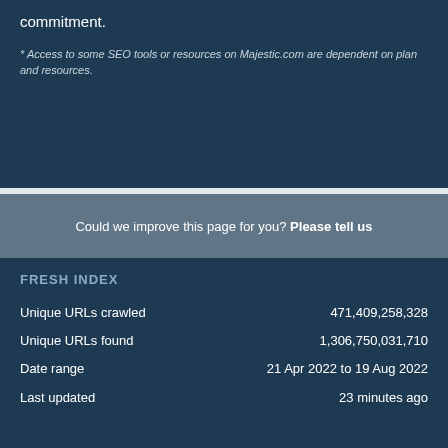commitment.
* Access to some SEO tools or resources on Majestic.com are dependent on plan and resources.
Could we improve this page for you? Please tell us
FRESH INDEX
|  |  |
| --- | --- |
| Unique URLs crawled | 471,409,258,328 |
| Unique URLs found | 1,306,750,031,710 |
| Date range | 21 Apr 2022 to 19 Aug 2022 |
| Last updated | 23 minutes ago |